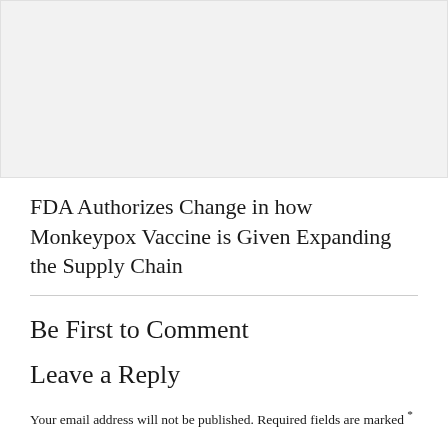[Figure (photo): Large image placeholder area at the top of the page, light gray background]
FDA Authorizes Change in how Monkeypox Vaccine is Given Expanding the Supply Chain
Be First to Comment
Leave a Reply
Your email address will not be published. Required fields are marked *